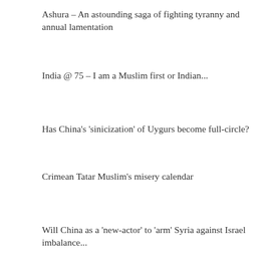Ashura – An astounding saga of fighting tyranny and annual lamentation
India @ 75 – I am a Muslim first or Indian...
Has China’s ‘sinicization’ of Uygurs become full-circle?
Crimean Tatar Muslim’s misery calendar
Will China as a ‘new-actor’ to ‘arm’ Syria against Israel imbalance...